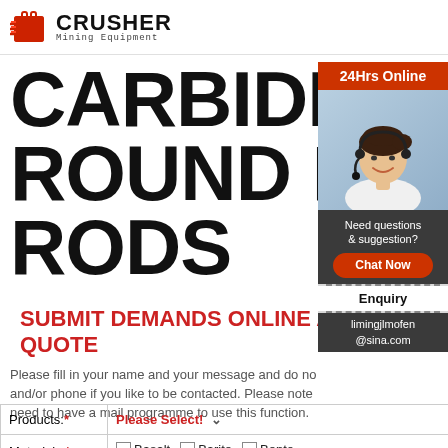[Figure (logo): Crusher Mining Equipment logo with red shopping bag icon and bold CRUSHER text]
CARBIDE ROUND ROD RODS
SUBMIT DEMANDS ONLINE AND GET QUOTE
Please fill in your name and your message and do not forget mail and/or phone if you like to be contacted. Please note that you need to have a mail programme to use this function.
| Products:* | Please Select! |
| --- | --- |
| Materials:* | Basalt, Barite, Bento... Calcite, Coal, Coppe... Dolomite, Feldspar... |
[Figure (photo): 24Hrs Online banner with Asian female customer service agent wearing headset]
Need questions & suggestion?
Chat Now
Enquiry
limingjlmofen@sina.com